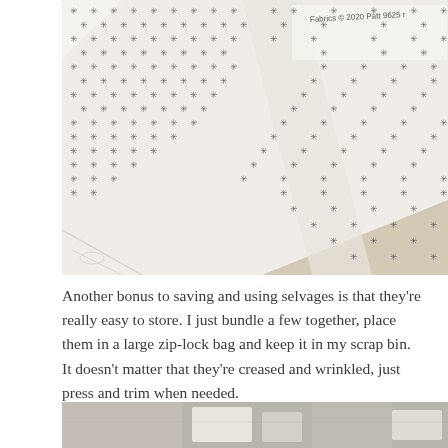[Figure (photo): White fabric with small black snowflake/asterisk pattern, folded and laid on a wooden surface. Fabric selvage visible with text 'Fabrics © 2020 Patt 9625' printed on it.]
Another bonus to saving and using selvages is that they're really easy to store. I just bundle a few together, place them in a large zip-lock bag and keep it in my scrap bin. It doesn't matter that they're creased and wrinkled, just press and trim when needed.
[Figure (photo): Partial photo of fabric scraps and bundled selvages stored together, partially visible at bottom of page.]